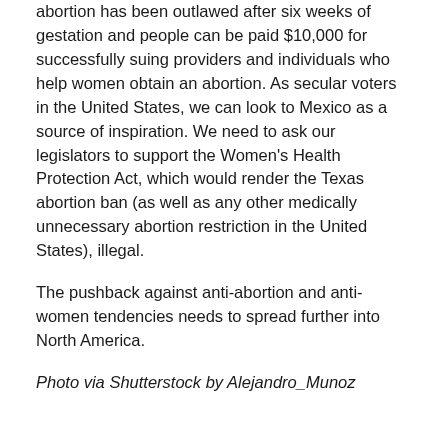abortion has been outlawed after six weeks of gestation and people can be paid $10,000 for successfully suing providers and individuals who help women obtain an abortion. As secular voters in the United States, we can look to Mexico as a source of inspiration. We need to ask our legislators to support the Women's Health Protection Act, which would render the Texas abortion ban (as well as any other medically unnecessary abortion restriction in the United States), illegal.
The pushback against anti-abortion and anti-women tendencies needs to spread further into North America.
Photo via Shutterstock by Alejandro_Munoz
If you are an FFRF member, sign into your account here and then update your email subscriptions here